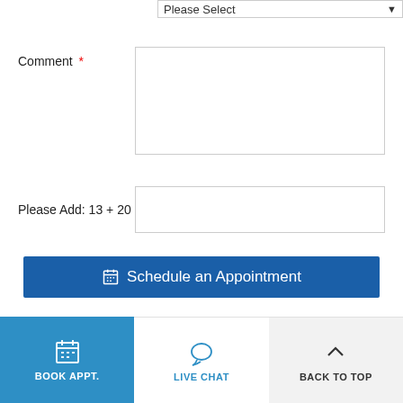Comment *
Please Add: 13 + 20
⊞ Schedule an Appointment
Discover a lifetime of value from Wedding Day Diamonds.
BOOK APPT.
LIVE CHAT
BACK TO TOP